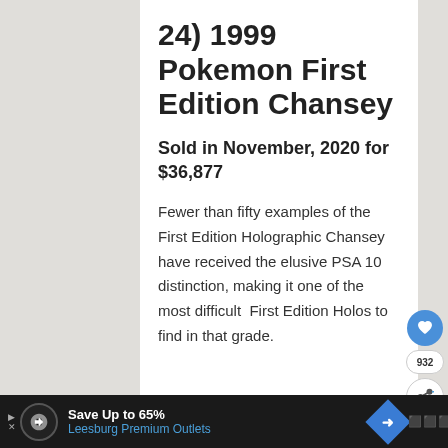24) 1999 Pokemon First Edition Chansey
Sold in November, 2020 for $36,877
Fewer than fifty examples of the First Edition Holographic Chansey have received the elusive PSA 10 distinction, making it one of the most difficult  First Edition Holos to find in that grade.
Save Up to 65% Leesburg Premium Outlets